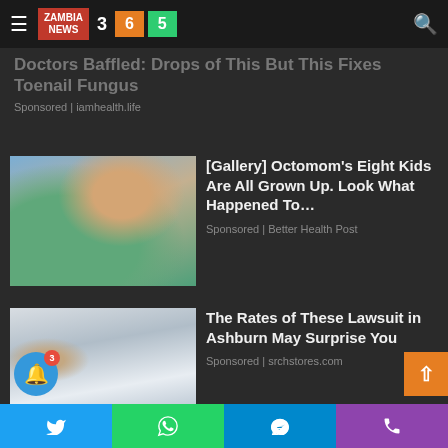ZAMBIA NEWS 3 6 5
But This Fixes Toenail Fungus
Sponsored | iamhealth.life
[Figure (photo): Woman holding multiple babies (Octomom)]
[Gallery] Octomom's Eight Kids Are All Grown Up. Look What Happened To...
Sponsored | Better Health Post
[Figure (photo): Woman in suit working at laptop]
The Rates of These Lawsuit in Ashburn May Surprise You
Sponsored | srchstores.com
Twitter | WhatsApp | Telegram | Phone